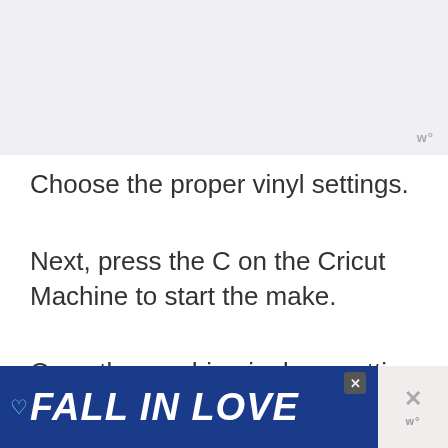[Figure (screenshot): Screenshot or image area at top of page, light gray background]
w°
Choose the proper vinyl settings.
Next, press the C on the Cricut Machine to start the make.
Once the machine is done cutting, hit the arrows to release the mat.
[Figure (screenshot): FALL IN LOVE advertisement banner with dog image and close buttons]